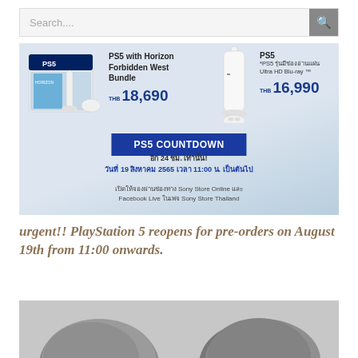Search....
[Figure (screenshot): PS5 promotional banner showing PS5 with Horizon Forbidden West Bundle at THB 18,690 and PS5 Ultra HD Blu-ray at THB 16,990, with PS5 COUNTDOWN button and Thai text about pre-orders on August 19, 2565 at 11:00]
urgent!! PlayStation 5 reopens for pre-orders on August 19th from 11:00 onwards.
[Figure (photo): Bottom strip showing partial heads/hair of people in black and white]